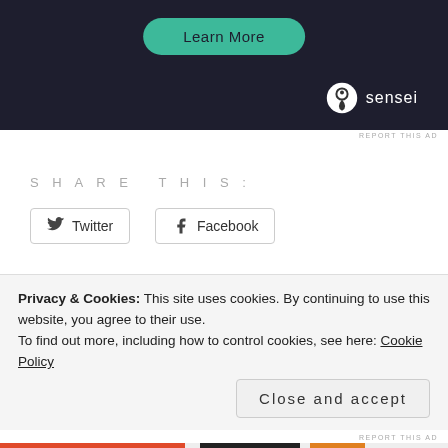[Figure (screenshot): Dark banner with a teal Learn More button and Sensei logo in the bottom right]
REPORT THIS AD
SHARE THIS:
Twitter
Facebook
Like
Be the first to like this.
Privacy & Cookies: This site uses cookies. By continuing to use this website, you agree to their use.
To find out more, including how to control cookies, see here: Cookie Policy
Close and accept